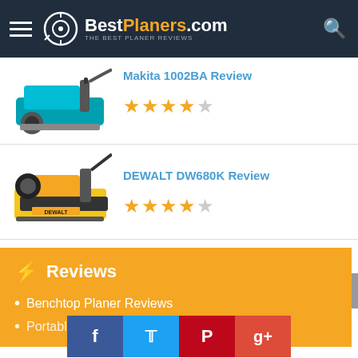BestPlaners.com — The Best Planer Reviews
[Figure (photo): Makita 1002BA electric hand planer, teal/blue color]
Makita 1002BA Review
[Figure (other): 4 out of 5 stars rating]
[Figure (photo): DEWALT DW680K electric hand planer, yellow color]
DEWALT DW680K Review
[Figure (other): 4 out of 5 stars rating]
Reviews
Benchtop Planer Reviews
Portable Pla...
Jointer Planer Reviews